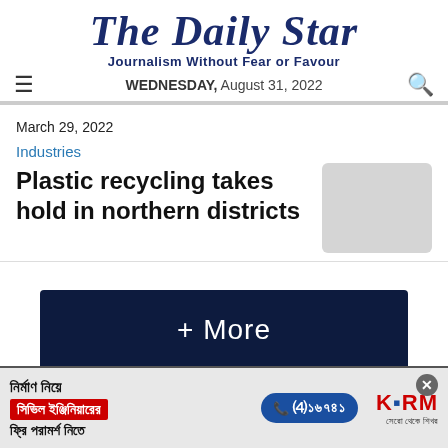The Daily Star
Journalism Without Fear or Favour
WEDNESDAY, August 31, 2022
March 29, 2022
Industries
Plastic recycling takes hold in northern districts
+ More
[Figure (photo): Advertisement banner: KSRM brand, civil engineering consultation ad in Bengali, phone number 16741]